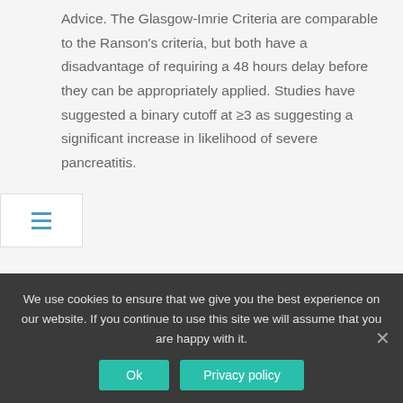Advice. The Glasgow-Imrie Criteria are comparable to the Ranson's criteria, but both have a disadvantage of requiring a 48 hours delay before they can be appropriately applied. Studies have suggested a binary cutoff at ≥3 as suggesting a significant increase in likelihood of severe pancreatitis.
Who is Clem Imrie and what does he do?
Clem W. Imrie, MD, is a retired professor of surgery, formerly working at the Glasgow Royal Infirmary. He has received numerous awards for his research and practice involving pancreatitis, most recently the George E. Palade
We use cookies to ensure that we give you the best experience on our website. If you continue to use this site we will assume that you are happy with it.